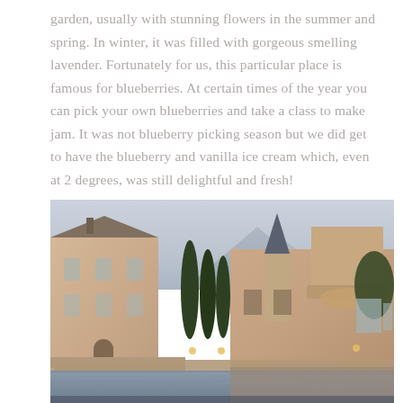garden, usually with stunning flowers in the summer and spring. In winter, it was filled with gorgeous smelling lavender. Fortunately for us, this particular place is famous for blueberries. At certain times of the year you can pick your own blueberries and take a class to make jam. It was not blueberry picking season but we did get to have the blueberry and vanilla ice cream which, even at 2 degrees, was still delightful and fresh!
[Figure (photo): A castle-like estate or winery complex photographed at dusk, showing a large pink/beige stone building on the left with classical French architecture, tall cypress trees in the middle, and an ornate castle-like structure with a spire and decorative balcony on the right. The complex sits on the edge of a reflective body of water, with mountains visible in the background under a soft twilight sky.]